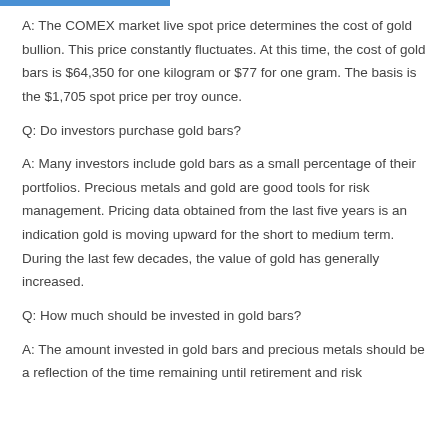A: The COMEX market live spot price determines the cost of gold bullion. This price constantly fluctuates. At this time, the cost of gold bars is $64,350 for one kilogram or $77 for one gram. The basis is the $1,705 spot price per troy ounce.
Q: Do investors purchase gold bars?
A: Many investors include gold bars as a small percentage of their portfolios. Precious metals and gold are good tools for risk management. Pricing data obtained from the last five years is an indication gold is moving upward for the short to medium term. During the last few decades, the value of gold has generally increased.
Q: How much should be invested in gold bars?
A: The amount invested in gold bars and precious metals should be a reflection of the time remaining until retirement and risk